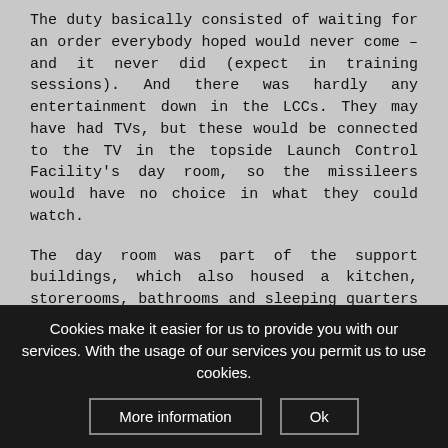The duty basically consisted of waiting for an order everybody hoped would never come – and it never did (expect in training sessions). And there was hardly any entertainment down in the LCCs. They may have had TVs, but these would be connected to the TV in the topside Launch Control Facility's day room, so the missileers would have no choice in what they could watch.
The day room was part of the support buildings, which also housed a kitchen, storerooms, bathrooms and sleeping quarters for the facility manager and the security guards. Entrance to the whole complex was also tightly controlled.
From the outside, the Launch Control Facilities are basically simple, nondescript single-storey yellow buildings that could be mistaken for
Cookies make it easier for us to provide you with our services. With the usage of our services you permit us to use cookies.